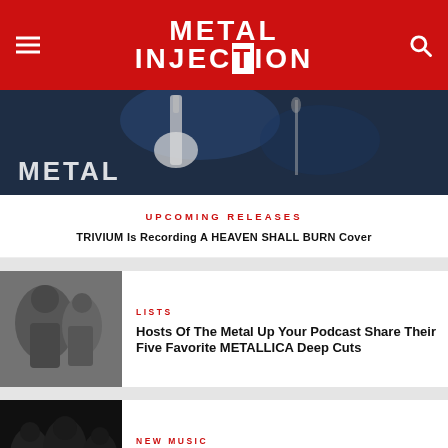METAL INJECTION
[Figure (photo): Hero image of guitar player on stage with blue lighting and METAL text overlay]
UPCOMING RELEASES
TRIVIUM Is Recording A HEAVEN SHALL BURN Cover
[Figure (photo): Black and white photo of Metallica band members]
LISTS
Hosts Of The Metal Up Your Podcast Share Their Five Favorite METALLICA Deep Cuts
[Figure (photo): Dark black and white photo of Languish band members]
NEW MUSIC
LANGUISH Streams Grinding, Angry New Single "Comply Or Die"